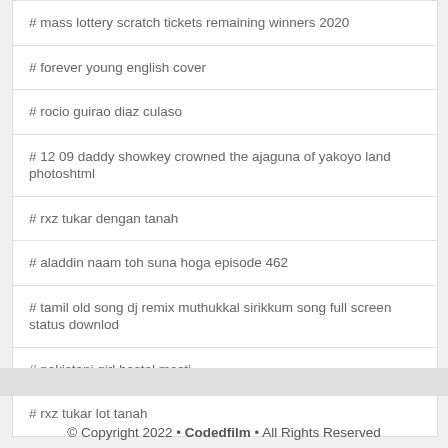# mass lottery scratch tickets remaining winners 2020
# forever young english cover
# rocio guirao diaz culaso
# 12 09 daddy showkey crowned the ajaguna of yakoyo land photoshtml
# rxz tukar dengan tanah
# aladdin naam toh suna hoga episode 462
# tamil old song dj remix muthukkal sirikkum song full screen status downlod
# pakistani girl hostel masti
# rxz tukar lot tanah
© Copyright 2022 • Codedfilm • All Rights Reserved